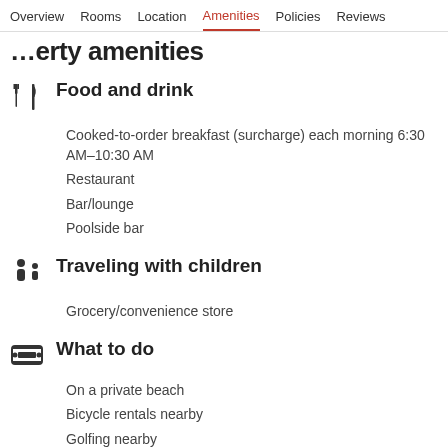Overview  Rooms  Location  Amenities  Policies  Reviews
…erty amenities
Food and drink
Cooked-to-order breakfast (surcharge) each morning 6:30 AM–10:30 AM
Restaurant
Bar/lounge
Poolside bar
Traveling with children
Grocery/convenience store
What to do
On a private beach
Bicycle rentals nearby
Golfing nearby
Parasailing nearby